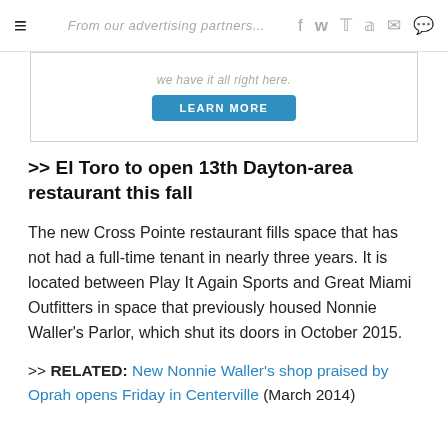≡  [nav icons: f, twitter, pinterest, reddit, mail, comment]
[Figure (other): Advertisement banner with text 'we have it all right here.' and a blue 'LEARN MORE' button]
>> El Toro to open 13th Dayton-area restaurant this fall
The new Cross Pointe restaurant fills space that has not had a full-time tenant in nearly three years. It is located between Play It Again Sports and Great Miami Outfitters in space that previously housed Nonnie Waller's Parlor, which shut its doors in October 2015.
>> RELATED: New Nonnie Waller's shop praised by Oprah opens Friday in Centerville (March 2014)